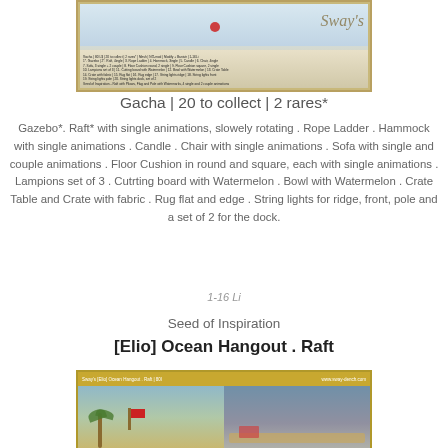[Figure (photo): Product image showing Sway's gacha items — ocean hangout scene with text overlay listing gacha contents, Sway's logo visible]
Gacha | 20 to collect | 2 rares*
Gazebo*. Raft* with single animations, slowely rotating . Rope Ladder . Hammock with single animations . Candle . Chair with single animations . Sofa with single and couple animations . Floor Cushion in round and square, each with single animations . Lampions set of 3 . Cutrting board with Watermelon . Bowl with Watermelon . Crate Table and Crate with fabric . Rug flat and edge . String lights for ridge, front, pole and a set of 2 for the dock.
1-16 Li
Seed of Inspiration
[Elio] Ocean Hangout . Raft
[Figure (photo): Product image for Sway's [Elio] Ocean Hangout . Raft | 80L, showing palm tree and raft scene, www.sway-dench.com]